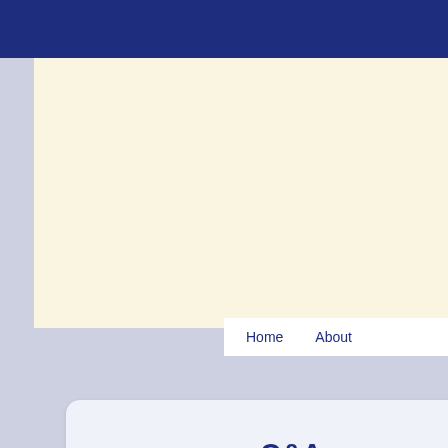[Figure (screenshot): Cream/beige banner area at the top of a website page]
Home    About
Universal Medicine » Clinics » Practi…
Q&A
Find a UniMed Clinic
D
E
S
C
e
T
F